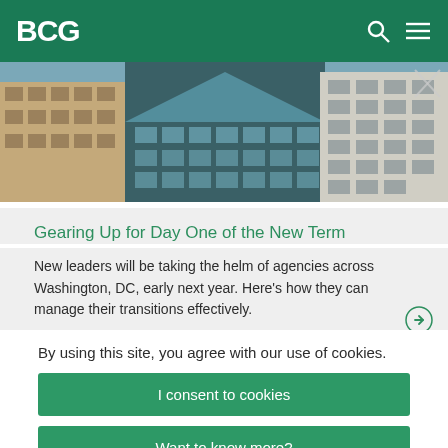BCG
[Figure (photo): Aerial/street view of Washington DC government buildings and skyscrapers]
Gearing Up for Day One of the New Term
New leaders will be taking the helm of agencies across Washington, DC, early next year. Here’s how they can manage their transitions effectively.
By using this site, you agree with our use of cookies.
I consent to cookies
Want to know more?
Read our Cookie Policy